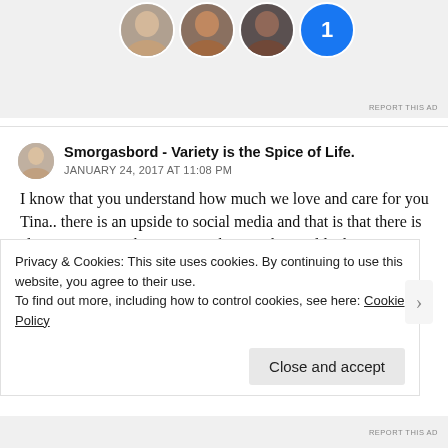[Figure (screenshot): Advertisement area showing circular profile avatars (three photo avatars and one blue circle with letter) on a light grey background, with 'REPORT THIS AD' text in bottom right.]
Smorgasbord - Variety is the Spice of Life.
JANUARY 24, 2017 AT 11:08 PM
I know that you understand how much we love and care for you Tina.. there is an upside to social media and that is that there is always someone there.. somewhere in the world when you are awake and feel that you are alone. Over this last year the three muskateers have had some good and bad times but I
Privacy & Cookies: This site uses cookies. By continuing to use this website, you agree to their use.
To find out more, including how to control cookies, see here: Cookie Policy
Close and accept